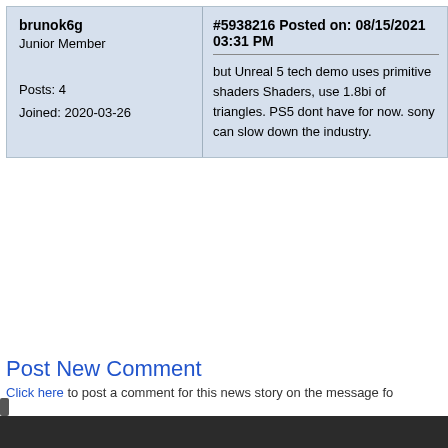brunok6g
Junior Member
#5938216 Posted on: 08/15/2021 03:31 PM
but Unreal 5 tech demo uses primitive shaders Shaders, use 1.8bi of triangles. PS5 dont have for now. sony can slow down the industry.
Posts: 4
Joined: 2020-03-26
Post New Comment
Click here to post a comment for this news story on the message fo
[Figure (photo): DeepCool advertisement banner showing RGB fans/coolers on a dark teal background with DeepCool logo on the left]